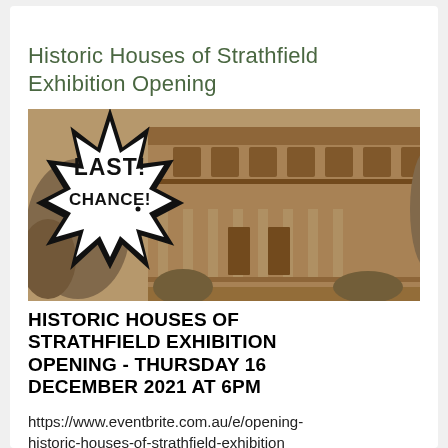Historic Houses of Strathfield Exhibition Opening
[Figure (photo): Sepia-toned photograph of a historic Victorian-style house with a 'LAST! CHANCE!' starburst overlay badge on the left side of the image.]
HISTORIC HOUSES OF STRATHFIELD EXHIBITION OPENING - THURSDAY 16 DECEMBER 2021 AT 6PM
https://www.eventbrite.com.au/e/opening-historic-houses-of-strathfield-exhibition